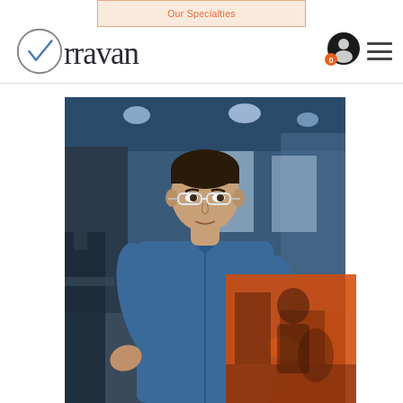Our Specialties
[Figure (logo): Orravan company logo with checkmark O and serif text]
[Figure (photo): A male engineer wearing safety glasses and a blue shirt working in an industrial/manufacturing facility, with an orange overlay block in the lower right corner]